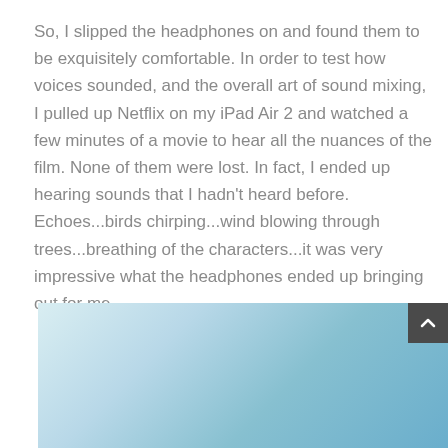So, I slipped the headphones on and found them to be exquisitely comfortable. In order to test how voices sounded, and the overall art of sound mixing, I pulled up Netflix on my iPad Air 2 and watched a few minutes of a movie to hear all the nuances of the film. None of them were lost. In fact, I ended up hearing sounds that I hadn't heard before. Echoes...birds chirping...wind blowing through trees...breathing of the characters...it was very impressive what the headphones ended up bringing out for me.
[Figure (photo): A partially visible photo with a light blue-green gradient background, possibly showing a product or scene. A dark scroll-to-top button with an upward arrow chevron appears in the upper-right corner of the image area.]